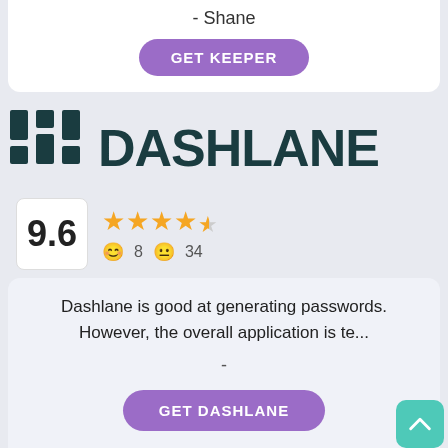- Shane
GET KEEPER
[Figure (logo): Dashlane logo with stylized geometric mark and bold DASHLANE text in dark teal]
9.6
[Figure (other): 4.5 star rating with emoji review counts: 8 positive, 34 neutral]
Dashlane is good at generating passwords. However, the overall application is te...
-
GET DASHLANE